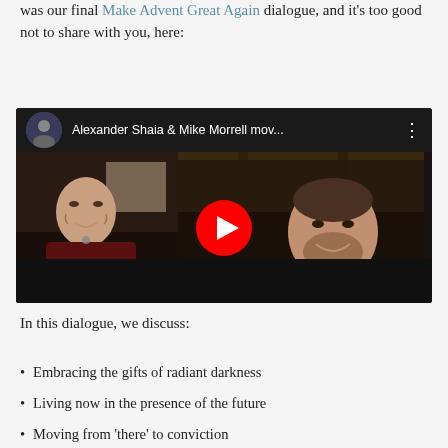was our final Make Advent Great Again dialogue, and it's too good not to share with you, here:
[Figure (screenshot): YouTube video thumbnail showing Alexander Shaia & Mike Morrell with two people visible on screen via video call, with a red YouTube play button in the center. Title reads 'Alexander Shaia & Mike Morrell mov...']
In this dialogue, we discuss:
Embracing the gifts of radiant darkness
Living now in the presence of the future
Moving from 'there' to conviction